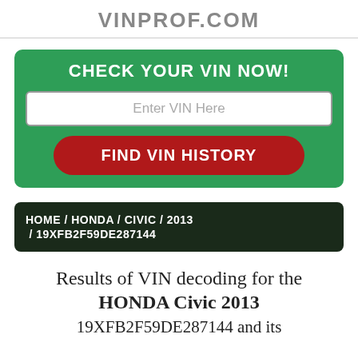VINPROF.COM
CHECK YOUR VIN NOW!
Enter VIN Here
FIND VIN HISTORY
HOME / HONDA / CIVIC / 2013 / 19XFB2F59DE287144
Results of VIN decoding for the HONDA Civic 2013 19XFB2F59DE287144 and its